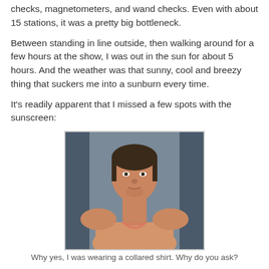checks, magnetometers, and wand checks. Even with about 15 stations, it was a pretty big bottleneck.
Between standing in line outside, then walking around for a few hours at the show, I was out in the sun for about 5 hours. And the weather was that sunny, cool and breezy thing that suckers me into a sunburn every time.
It's readily apparent that I missed a few spots with the sunscreen:
[Figure (photo): Photo of a person showing their neck and upper chest, with a visible sunburn pattern from a collared shirt. The person is shirtless, photographed from the front against a grey background.]
Why yes, I was wearing a collared shirt. Why do you ask?